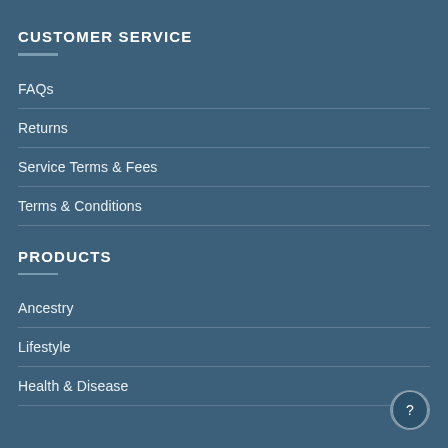CUSTOMER SERVICE
FAQs
Returns
Service Terms & Fees
Terms & Conditions
PRODUCTS
Ancestry
Lifestyle
Health & Disease